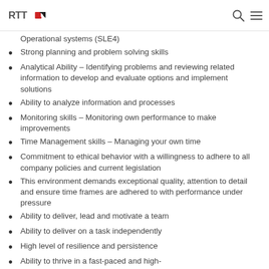RTT logo, search icon, menu icon
Operational systems (SLE4)
Strong planning and problem solving skills
Analytical Ability – Identifying problems and reviewing related information to develop and evaluate options and implement solutions
Ability to analyze information and processes
Monitoring skills – Monitoring own performance to make improvements
Time Management skills – Managing your own time
Commitment to ethical behavior with a willingness to adhere to all company policies and current legislation
This environment demands exceptional quality, attention to detail and ensure time frames are adhered to with performance under pressure
Ability to deliver, lead and motivate a team
Ability to deliver on a task independently
High level of resilience and persistence
Ability to thrive in a fast-paced and high-